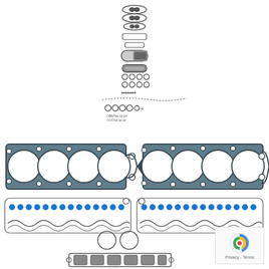[Figure (engineering-diagram): Engine gasket set exploded view showing: small circular gaskets at top, oval and rectangular gaskets, pill-shaped gaskets, valve stem seals, camshaft seals, o-rings in a row, a curved wire/tube gasket, five small o-rings in a row, text labels, two large cylinder head gaskets (4-cylinder bore pattern with bolt holes), two valve cover gaskets with wavy edges and blue o-ring dots, two circular o-rings, and an intake manifold gasket at the bottom.]